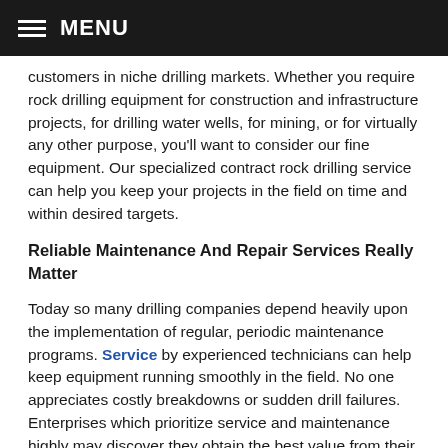MENU
customers in niche drilling markets. Whether you require rock drilling equipment for construction and infrastructure projects, for drilling water wells, for mining, or for virtually any other purpose, you'll want to consider our fine equipment. Our specialized contract rock drilling service can help you keep your projects in the field on time and within desired targets.
Reliable Maintenance And Repair Services Really Matter
Today so many drilling companies depend heavily upon the implementation of regular, periodic maintenance programs. Service by experienced technicians can help keep equipment running smoothly in the field. No one appreciates costly breakdowns or sudden drill failures. Enterprises which prioritize service and maintenance highly may discover they obtain the best value from their investment in heavy equipment and specialized drills by contracting for regular maintenance and repair services.
Whether you require an experienced rotary drill pipe supplier, capable in house maintenance and repair